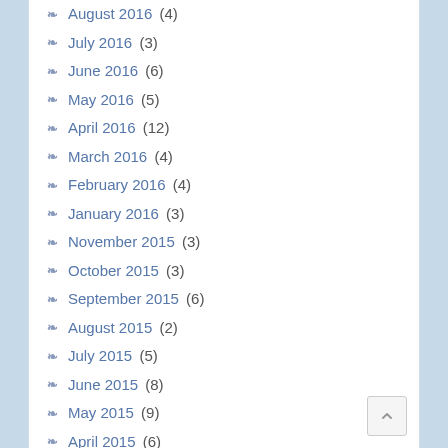August 2016 (4)
July 2016 (3)
June 2016 (6)
May 2016 (5)
April 2016 (12)
March 2016 (4)
February 2016 (4)
January 2016 (3)
November 2015 (3)
October 2015 (3)
September 2015 (6)
August 2015 (2)
July 2015 (5)
June 2015 (8)
May 2015 (9)
April 2015 (6)
March 2015 (8)
February 2015 (8)
January 2015 (8)